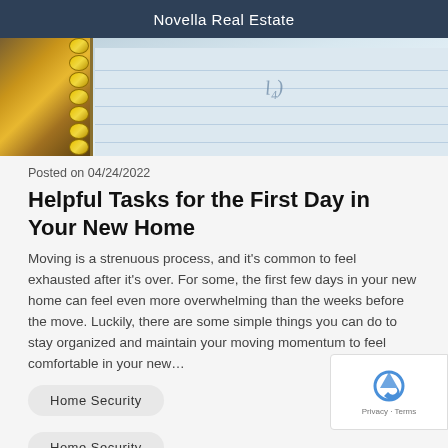Novella Real Estate
[Figure (photo): Close-up photo of a spiral-bound notebook with lined paper, showing handwriting in the background]
Posted on 04/24/2022
Helpful Tasks for the First Day in Your New Home
Moving is a strenuous process, and it’s common to feel exhausted after it’s over. For some, the first few days in your new home can feel even more overwhelming than the weeks before the move. Luckily, there are some simple things you can do to stay organized and maintain your moving momentum to feel comfortable in your new…
Home Security
Home Security
+ 4 more